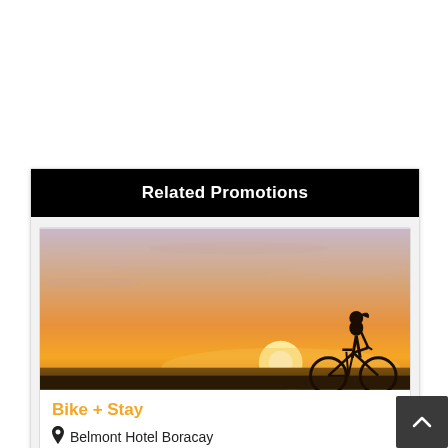Related Promotions
[Figure (photo): Silhouette of a woman standing with a bicycle against a warm sunset sky with orange and golden hues]
Bike + Stay
Belmont Hotel Boracay
PHP 9,152